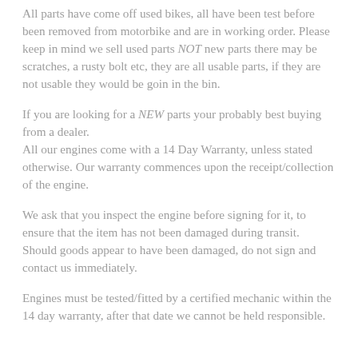All parts have come off used bikes, all have been test before been removed from motorbike and are in working order. Please keep in mind we sell used parts NOT new parts there may be scratches, a rusty bolt etc, they are all usable parts, if they are not usable they would be goin in the bin.
If you are looking for a NEW parts your probably best buying from a dealer.
All our engines come with a 14 Day Warranty, unless stated otherwise. Our warranty commences upon the receipt/collection of the engine.
We ask that you inspect the engine before signing for it, to ensure that the item has not been damaged during transit. Should goods appear to have been damaged, do not sign and contact us immediately.
Engines must be tested/fitted by a certified mechanic within the 14 day warranty, after that date we cannot be held responsible.